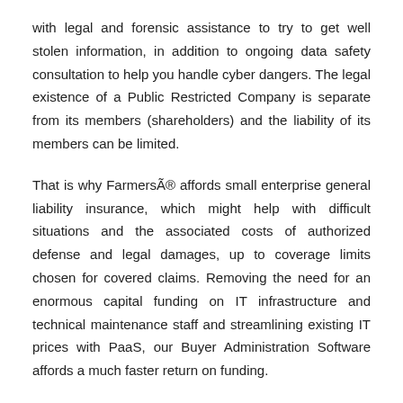with legal and forensic assistance to try to get well stolen information, in addition to ongoing data safety consultation to help you handle cyber dangers. The legal existence of a Public Restricted Company is separate from its members (shareholders) and the liability of its members can be limited.
That is why FarmersÃ® affords small enterprise general liability insurance, which might help with difficult situations and the associated costs of authorized defense and legal damages, up to coverage limits chosen for covered claims. Removing the need for an enormous capital funding on IT infrastructure and technical maintenance staff and streamlining existing IT prices with PaaS, our Buyer Administration Software affords a much faster return on funding.
Anthem is the second-largest medical insurance provider by whole members with over 40 million lives covered. In England